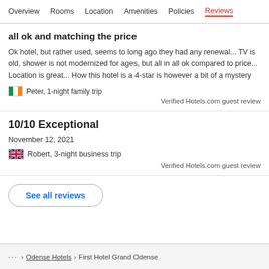Overview  Rooms  Location  Amenities  Policies  Reviews
all ok and matching the price
Ok hotel, but rather used, seems to long ago they had any renewal... TV is old, shower is not modernized for ages, but all in all ok compared to price... Location is great... How this hotel is a 4-star is however a bit of a mystery
Peter, 1-night family trip
Verified Hotels.com guest review
10/10 Exceptional
November 12, 2021
Robert, 3-night business trip
Verified Hotels.com guest review
See all reviews
... > Odense Hotels > First Hotel Grand Odense